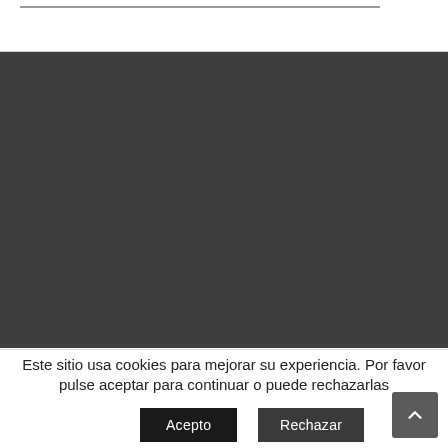[Figure (screenshot): Top white bar with a horizontal line element]
[Figure (screenshot): Large dark gray section filling most of the page]
Este sitio usa cookies para mejorar su experiencia. Por favor pulse aceptar para continuar o puede rechazarlas
Acepto
Rechazar